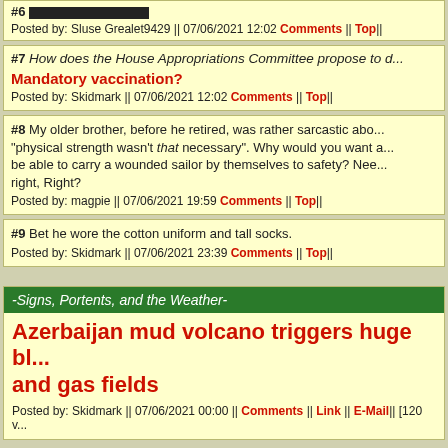#6 [image/bar]
Posted by: Sluse Grealet9429 || 07/06/2021 12:02 Comments || Top||
#7 How does the House Appropriations Committee propose to d...
Mandatory vaccination?
Posted by: Skidmark || 07/06/2021 12:02 Comments || Top||
#8 My older brother, before he retired, was rather sarcastic abo... "physical strength wasn't that necessary". Why would you want a... be able to carry a wounded sailor by themselves to safety? Nee... right, Right?
Posted by: magpie || 07/06/2021 19:59 Comments || Top||
#9 Bet he wore the cotton uniform and tall socks.
Posted by: Skidmark || 07/06/2021 23:39 Comments || Top||
-Signs, Portents, and the Weather-
Azerbaijan mud volcano triggers huge bl... and gas fields
Posted by: Skidmark || 07/06/2021 00:00 || Comments || Link || E-Mail|| [120 v...